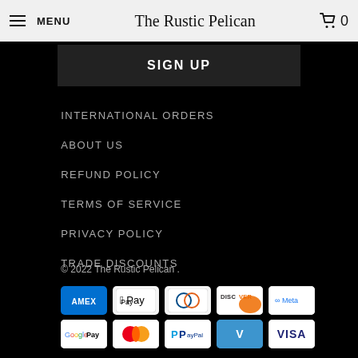MENU | The Rustic Pelican | 0
SIGN UP
INTERNATIONAL ORDERS
ABOUT US
REFUND POLICY
TERMS OF SERVICE
PRIVACY POLICY
TRADE DISCOUNTS
© 2022 The Rustic Pelican .
[Figure (other): Payment method icons: American Express, Apple Pay, Diners Club, Discover, Meta Pay, Google Pay, Mastercard, PayPal, Venmo, Visa]